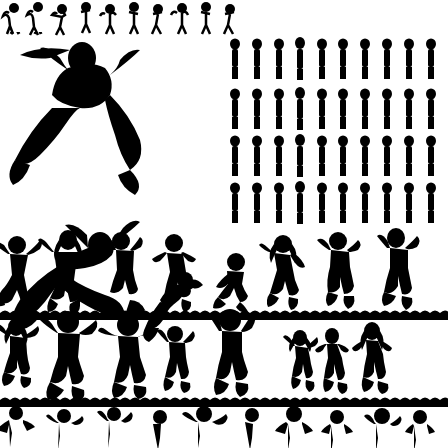[Figure (illustration): Collection of black silhouettes of people in various poses arranged across the page. Top row: dancing/jumping human silhouettes in a strip. Upper left quadrant: mermaid silhouettes (two mermaids in flowing poses). Upper right quadrant: rows of standing human figure silhouettes arranged in multiple rows of approximately 10 figures each. Middle section: large jumping/dancing human silhouettes in energetic poses. Lower middle section: grass border strip followed by more large jumping/celebratory child and adult silhouettes. Bottom: another grass border strip and a partial row of more silhouettes. All figures are solid black on white background.]